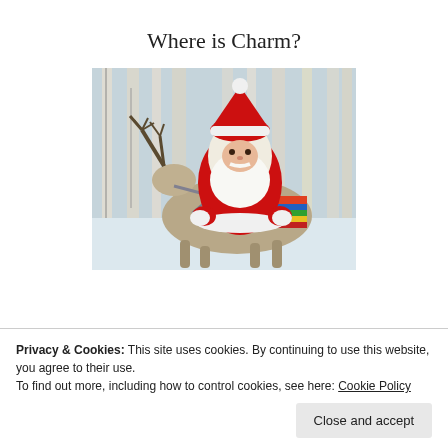Where is Charm?
[Figure (photo): Santa Claus in red suit with white beard sitting on a reindeer with antlers, in a snowy birch forest setting, with colorful saddlebag on the reindeer.]
Privacy & Cookies: This site uses cookies. By continuing to use this website, you agree to their use.
To find out more, including how to control cookies, see here: Cookie Policy
Close and accept